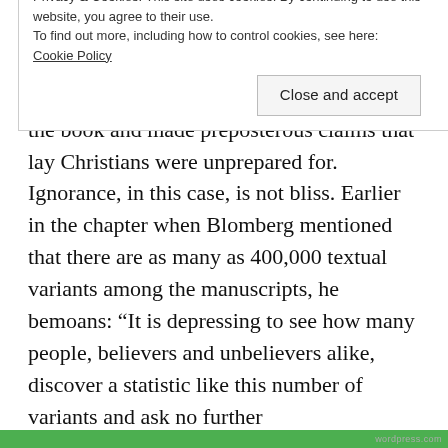—both liberal and evangelical, and all stripes in between. Non-scholars, especially atheists and Muslim apologists, latched onto the book and made preposterous claims that lay Christians were unprepared for. Ignorance, in this case, is not bliss. Earlier in the chapter when Blomberg mentioned that there are as many as 400,000 textual variants among the manuscripts, he bemoans: “It is depressing to see how many people, believers and unbelievers alike, discover a statistic like this number of variants and ask no further
Privacy & Cookies: This site uses cookies. By continuing to use this website, you agree to their use.
To find out more, including how to control cookies, see here: Cookie Policy
Close and accept